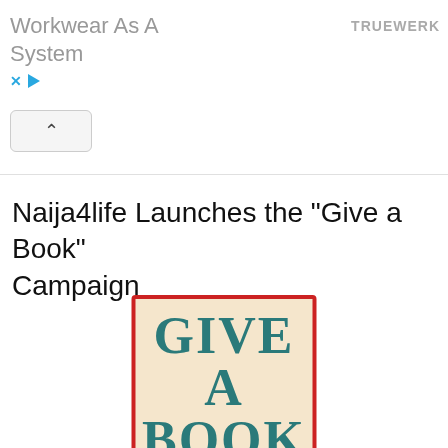Workwear As A System
TRUEWERK
Naija4life Launches the "Give a Book" Campaign
[Figure (illustration): A square poster with a red border on a beige/cream background displaying the text 'GIVE A BOOK' in large teal/dark cyan bold serif letters arranged in two lines.]